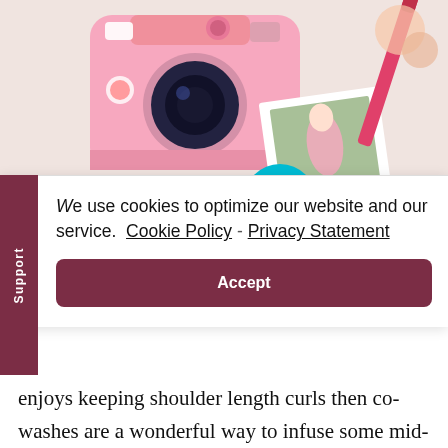[Figure (photo): Flat lay photo showing a pink Fujifilm Instax Mini camera, a polaroid photo print, pink pen/brush, and other items on a light background. A teal circular badge with '22' is partially visible.]
We use cookies to optimize our website and our service.  Cookie Policy - Privacy Statement
Accept
enjoys keeping shoulder length curls then co-washes are a wonderful way to infuse some mid-week moisture. If however length is your long term goal, stick with a spray bottle and some shea butter* for